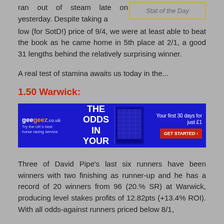ran out of steam late on yesterday. Despite taking a low (for SotD!) price of 9/4, we were at least able to beat the book as he came home in 5th place at 2/1, a good 31 lengths behind the relatively surprising winner.
Stat of the Day
A real test of stamina awaits us today in the...
1.50 Warwick:
[Figure (infographic): geegeez.co.uk advertisement banner: 'TURN THE ODDS IN YOUR FAVOUR' with offer 'Your first 30 days for just £1' and 'GET STARTED >' button]
Three of David Pipe's last six runners have been winners with two finishing as runner-up and he has a record of 20 winners from 96 (20.% SR) at Warwick, producing level stakes profits of 12.82pts (+13.4% ROI). With all odds-against runners priced below 8/1,